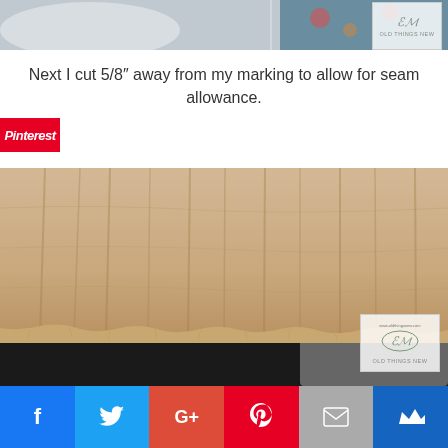[Figure (photo): Top partial photo showing fabric and floral pattern with 'Old Things New' watermark in top right corner]
Next I cut 5/8″ away from my marking to allow for seam allowance.
[Figure (photo): Close-up photo of gathered/pleated beige/tan fabric with raw cut frayed edge at bottom, showing seam allowance cut. 'Old Things New' watermark in bottom right corner.]
[Figure (infographic): Social sharing bar with Facebook, Twitter, Google+, Pinterest, Email, and Crown/Bloglovin icons]